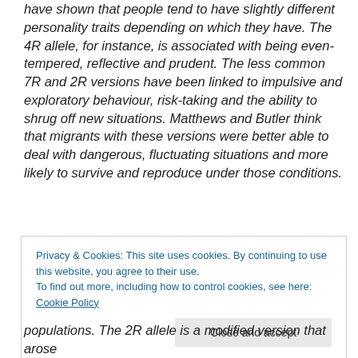have shown that people tend to have slightly different personality traits depending on which they have. The 4R allele, for instance, is associated with being even-tempered, reflective and prudent. The less common 7R and 2R versions have been linked to impulsive and exploratory behaviour, risk-taking and the ability to shrug off new situations. Matthews and Butler think that migrants with these versions were better able to deal with dangerous, fluctuating situations and more likely to survive and reproduce under those conditions.
Privacy & Cookies: This site uses cookies. By continuing to use this website, you agree to their use. To find out more, including how to control cookies, see here: Cookie Policy
populations. The 2R allele is a modified version that arose